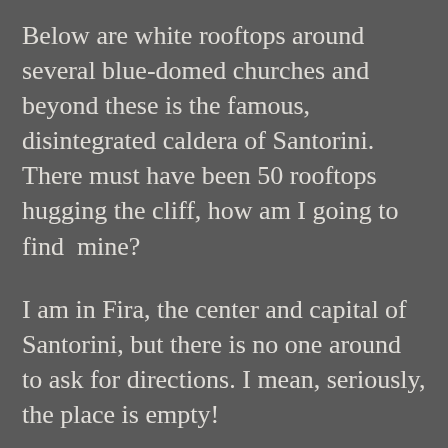Below are white rooftops around several blue-domed churches and beyond these is the famous, disintegrated caldera of Santorini. There must have been 50 rooftops hugging the cliff, how am I going to find  mine?
I am in Fira, the center and capital of Santorini, but there is no one around to ask for directions. I mean, seriously, the place is empty!
After a few minutes of walking in the wrong direction, I spot some locals and they direct me to a steep, narrow road with half of it